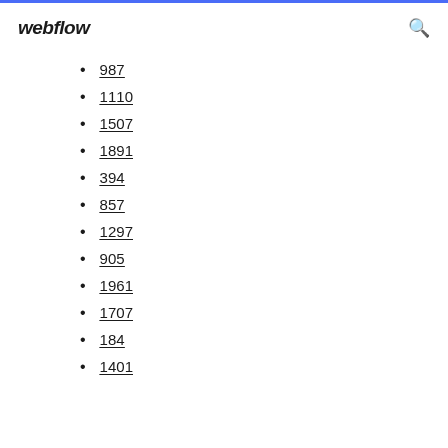webflow
987
1110
1507
1891
394
857
1297
905
1961
1707
184
1401